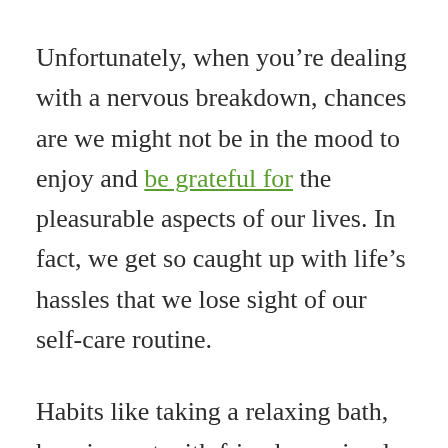Unfortunately, when you're dealing with a nervous breakdown, chances are we might not be in the mood to enjoy and be grateful for the pleasurable aspects of our lives. In fact, we get so caught up with life's hassles that we lose sight of our self-care routine.
Habits like taking a relaxing bath, hanging out with friends, or simply going out for a walk, begin to feel burdensome and 'unnecessary.' After all, shouldn't we take care of the problem(s) that have triggered our